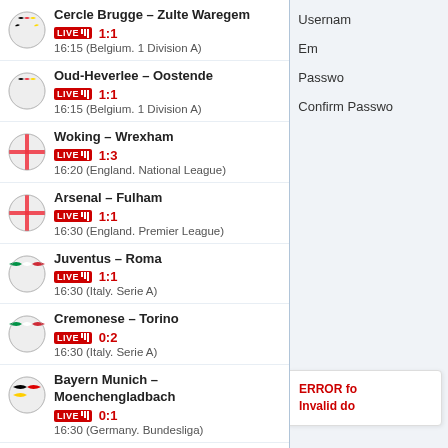Cercle Brugge – Zulte Waregem LIVE ||| 1:1 16:15 (Belgium. 1 Division A)
Oud-Heverlee – Oostende LIVE ||| 1:1 16:15 (Belgium. 1 Division A)
Woking – Wrexham LIVE ||| 1:3 16:20 (England. National League)
Arsenal – Fulham LIVE ||| 1:1 16:30 (England. Premier League)
Juventus – Roma LIVE ||| 1:1 16:30 (Italy. Serie A)
Cremonese – Torino LIVE ||| 0:2 16:30 (Italy. Serie A)
Bayern Munich – Moenchengladbach LIVE ||| 0:1 16:30 (Germany. Bundesliga)
Vitesse – RKC Waalwijk LIVE ||| 1:2 16:45 (Netherlands. Eredivisie)
Boavista – Benfica LIVE ||| 0:1 17:00 (Portugal. Primeira Liga)
Akhmat – Krylia Sovetov LIVE ||| 1:1 17:00 (Russia. Premier League)
Rayo Vallecano – Mallorca
Username
Em
Passwo
Confirm Passwo
ERROR fo
Invalid do